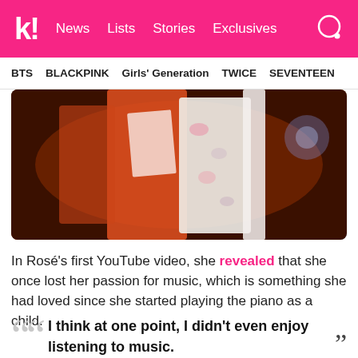k! News Lists Stories Exclusives
BTS BLACKPINK Girls' Generation TWICE SEVENTEEN
[Figure (photo): A close-up photo of a performer in an orange/red floral outfit on a dark stage background, partially cropped]
In Rosé's first YouTube video, she revealed that she once lost her passion for music, which is something she had loved since she started playing the piano as a child.
"I think at one point, I didn't even enjoy listening to music."